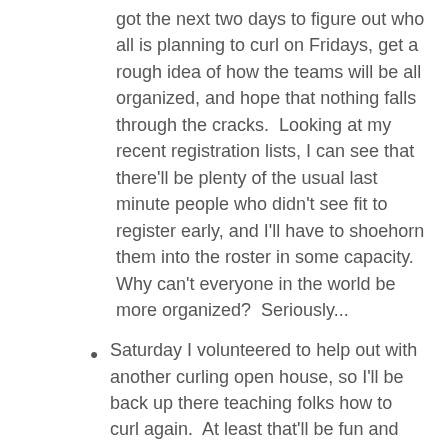got the next two days to figure out who all is planning to curl on Fridays, get a rough idea of how the teams will be all organized, and hope that nothing falls through the cracks.  Looking at my recent registration lists, I can see that there'll be plenty of the usual last minute people who didn't see fit to register early, and I'll have to shoehorn them into the roster in some capacity.  Why can't everyone in the world be more organized?  Seriously...
Saturday I volunteered to help out with another curling open house, so I'll be back up there teaching folks how to curl again.  At least that'll be fun and fortunately with the Huskies bye this week, I don't have to worry about juggling that with a UW football game. :)
In things without an allotted time, I need to do laundry from my trip sometime.
I need to figure out what Vancouver 2010 Olympics tickets I want to put into my order.  I've